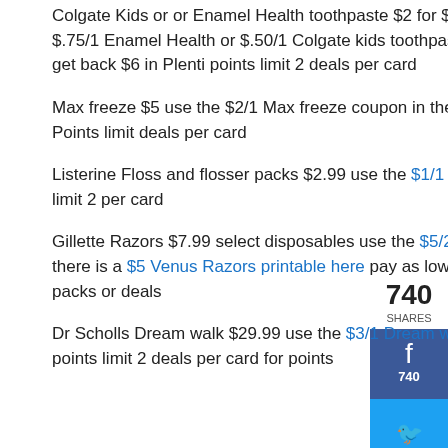Colgate Kids or or Enamel Health toothpaste $2 for $6 use the $1/2 coupons in the 11/22 Smartsource or the $.75/1 Enamel Health or $.50/1 Colgate kids toothpaste printables both found here and pay as low as $4.50 and get back $6 in Plenti points limit 2 deals per card
Max freeze $5 use the $2/1 Max freeze coupon in the 11/22 Smartsource and pay $3 and get back $5 in Plenti Points limit deals per card
Listerine Floss and flosser packs $2.99 use the $1/1 Printable here and pay $1.99 and get back $2 in plenti points limit 2 per card
Gillette Razors $7.99 select disposables use the $5/2 Gillette printable here or the $2/1 in the 11/8 Redplum or there is a $5 Venus Razors printable here pay as low as $5.49 each and get $4 in plenti points for each up to 2 packs or deals
Dr Scholls Dream walk $29.99 use the $3/1 Dream walk printable here and pay $26.99 and get back $10 in Plenti points limit 2 deals per card for points.